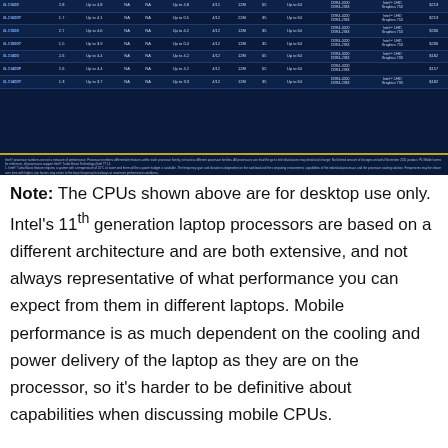| Model | GHz Base | Boost | Cores (P) | Cores (E) | Threads | Cache | TDP | Max RAM | Memory Type | Graphics | Price |
| --- | --- | --- | --- | --- | --- | --- | --- | --- | --- | --- | --- |
| i5-11600 | 2.8 | Up to 4.8 | NA | NA | Up to 4.8 | 4/12 | 12M | 65 | Up to 64 | DDR4-3200 DDR4-2933 | Intel UHD Graphics 750 | $213 |
| i5-11600T | 1.7 | Up to 4.1 | NA | NA | Up to 0.5 | 4/12 | 22M | 35 | Up to 64 | DDR4-3200 DDR4-2933 | Intel UHD Graphics 750 | $213 |
| i5-11500 | 2.7 | Up to 4.6 | NA | NA | Up to 4.2 | 4/12 | 12M | 35 | Up to 64 | DDR4-3200 DDR4-2933 | Intel UHD Graphics 750 | $206 |
| i5-11500T | 1.5 | Up to 3.9 | NA | NA | Up to 0.4 | 4/12 | 12M | 35 | Up to 64 | DDR4-3200 DDR4-2933 | Intel UHD Graphics 750 | $206 |
| i5-11400 | 2.6 | Up to 4.4 | NA | NA | Up to 4.2 | 4/12 | 12M | 65 | Up to 64 | DDR4-3200 DDR4-2933 | Intel UHD Graphics 730 | $182 |
| i5-11400F | 2.6 | Up to 4.4 | NA | NA | Up to 4.2 | 4/12 | 12M | 65 | Up to 64 | DDR4-3200 DDR4-2933 |  | $157 |
| i5-11400T | 1.3 | Up to 3.7 | NA | NA | Up to 3.3 | 4/12 | 12M | 35 | Up to 64 | DDR4-3200 DDR4-2933 | Intel UHD Graphics 730 | $182 |
Intel processor numbers are not a measure of performance. Processor numbers differentiate features within each processor family, not across different processor families. All processors can read fine print to Intel disclosures may detail and change: Not limited amount of changes on latest November 2021 product. PU Model series for reference, all processors support Intel Turbo Boost Technology (Intel TT) 4. Intel Turbo Boost feature requires a system with a temperature of 25°C or lower and there will be a power budget is available. The frequency gain and duration is dependent on the workload and the computing environment, capabilities of the individual processor, and the processor cooling solution. Frequencies may be shown over time with higher, you factors may return to the base frequency but always at maximum performance conditions. Starting core frequency or voltage may vary by product and will not impact product quality, security performance, and life of the processor and other components. Check with system and component manufacturer for details. The processor DDR5-32x4 is supported when installed on systems with the same DDR5 bus number. Symmetric configuration are required in 24-bit row format DDR5 bases 3. or Intel processors with Intel UHD next 1. DDR-2933 4 rows 2. DDR4-3200 4 rows.
Note: The CPUs shown above are for desktop use only. Intel's 11th generation laptop processors are based on a different architecture and are both extensive, and not always representative of what performance you can expect from them in different laptops. Mobile performance is as much dependent on the cooling and power delivery of the laptop as they are on the processor, so it's harder to be definitive about capabilities when discussing mobile CPUs.